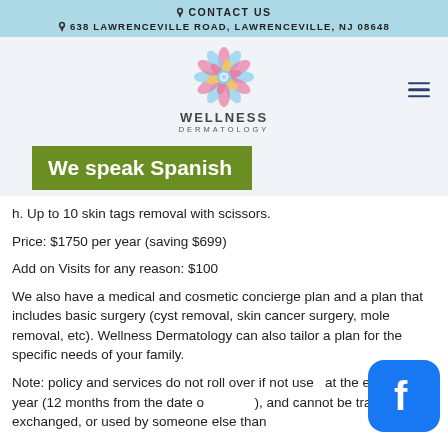CONTACT US
638 LAWRENCEVILLE ROAD, LAWRENCEVILLE, NJ 08648
[Figure (logo): Wellness Dermatology logo with floral mandala above text WELLNESS DERMATOLOGY]
We speak Spanish
h. Up to 10 skin tags removal with scissors.
Price: $1750 per year (saving $699)
Add on Visits for any reason: $100
We also have a medical and cosmetic concierge plan and a plan that includes basic surgery (cyst removal, skin cancer surgery, mole removal, etc). Wellness Dermatology can also tailor a plan for the specific needs of your family.
Note: policy and services do not roll over if not used at the end of each year (12 months from the date of signing), and cannot be transferred, exchanged, or used by someone else than